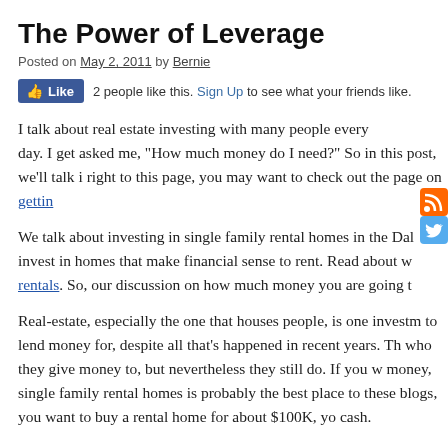The Power of Leverage
Posted on May 2, 2011 by Bernie
[Figure (other): Facebook Like button showing 2 people like this, with Sign Up link]
I talk about real estate investing with many people every day. I get asked me, "How much money do I need?" So in this post, we'll talk. If you came right to this page, you may want to check out the page on gettin...
We talk about investing in single family rental homes in the Dal... invest in homes that make financial sense to rent. Read about w... rentals. So, our discussion on how much money you are going t...
Real-estate, especially the one that houses people, is one investm... to lend money for, despite all that's happened in recent years. Th... who they give money to, but nevertheless they still do. If you w... money, single family rental homes is probably the best place to... these blogs, you want to buy a rental home for about $100K, yo... cash.